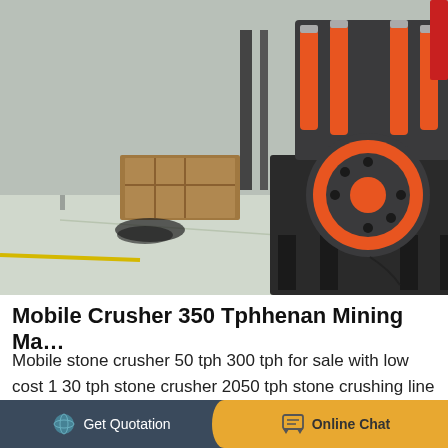[Figure (photo): Industrial cone crusher machine in a factory/warehouse setting. The machine is large with orange hydraulic cylinders and a circular orange and grey flywheel. Parked on a green floor with a wooden crate in the background.]
Mobile Crusher 350 Tphhenan Mining Ma...
Mobile stone crusher 50 tph 300 tph for sale with low cost 1 30 tph stone crusher 2050 tph stone crushing line can be used in hard simmons cone crusher 31010 get price 30 tph cone crusher delhi mobile crushers all over…
Get Quotation    Online Chat